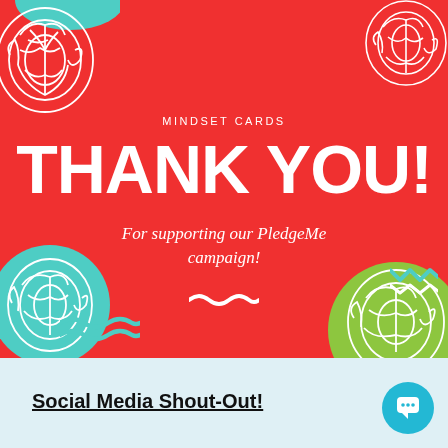[Figure (illustration): Red promotional card with decorative brain illustrations, circular shapes in teal and green, wavy decorative lines, and text 'MINDSET CARDS / THANK YOU! / For supporting our PledgeMe campaign!']
THANK YOU!
MINDSET CARDS
For supporting our PledgeMe campaign!
Social Media Shout-Out!